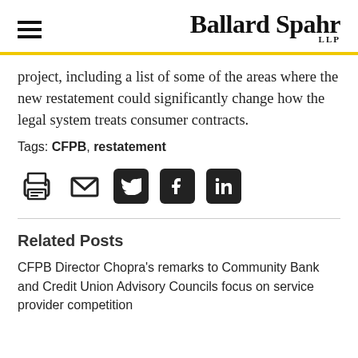Ballard Spahr LLP
project, including a list of some of the areas where the new restatement could significantly change how the legal system treats consumer contracts.
Tags: CFPB, restatement
[Figure (other): Row of social sharing icons: print, email, Twitter, Facebook, LinkedIn]
Related Posts
CFPB Director Chopra's remarks to Community Bank and Credit Union Advisory Councils focus on service provider competition